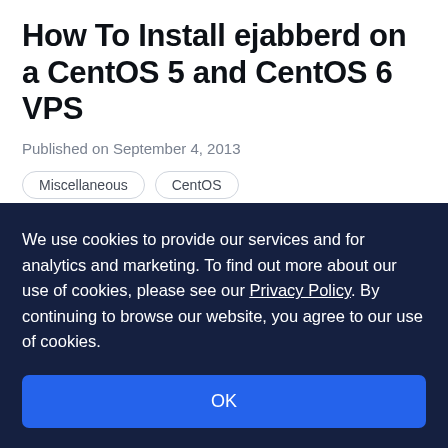How To Install ejabberd on a CentOS 5 and CentOS 6 VPS
Published on September 4, 2013
Miscellaneous
CentOS
By Henrik
Developer and author at DigitalOcean.
We use cookies to provide our services and for analytics and marketing. To find out more about our use of cookies, please see our Privacy Policy. By continuing to browse our website, you agree to our use of cookies.
OK